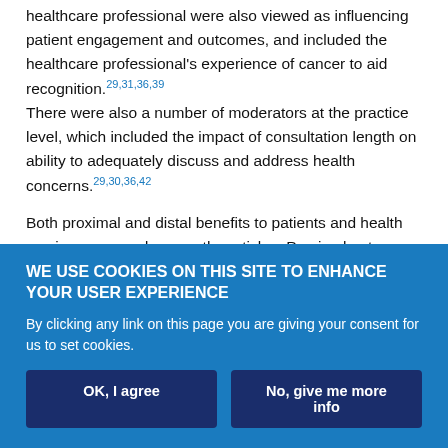healthcare professional were also viewed as influencing patient engagement and outcomes, and included the healthcare professional's experience of cancer to aid recognition.29,31,36,39 There were also a number of moderators at the practice level, which included the impact of consultation length on ability to adequately discuss and address health concerns.29,30,36,42
Both proximal and distal benefits to patients and health services emerged across the articles. Proximal outcomes resulting from proposed strategies include improved monitoring of symptoms6,26,29–32,34–41 and improved quality of the patient–healthcare professional consultation.6,26,29–31,33,35–37,39–41 It is proposed that proximal
WE USE COOKIES ON THIS SITE TO ENHANCE YOUR USER EXPERIENCE
By clicking any link on this page you are giving your consent for us to set cookies.